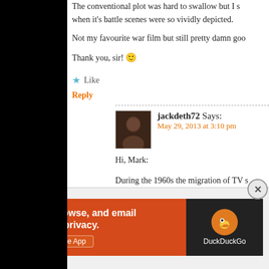The conventional plot was hard to swallow but I s when it's battle scenes were so vividly depicted.
Not my favourite war film but still pretty damn goo
Thank you, sir! 🙂
★ Like
Reply
jackdeth72 Says:
May 29, 2013 at 3:10 pm
Hi, Mark:
During the 1960s the migration of TV s the east and the UK coming west to the 'The Avengers' and "The Champions' m while very little went your way in kind.
Before Vietnam took over television he WWII themed series on the big three s 'Combat!', 'Twelve O'clock High' and la the lead. Followed closely by 'The Gall quality and story. So the pallet wa
Advertisements
[Figure (infographic): DuckDuckGo advertisement banner: orange background with text 'Search, browse, and email with more privacy. All in One Free App' and DuckDuckGo duck logo on dark background]